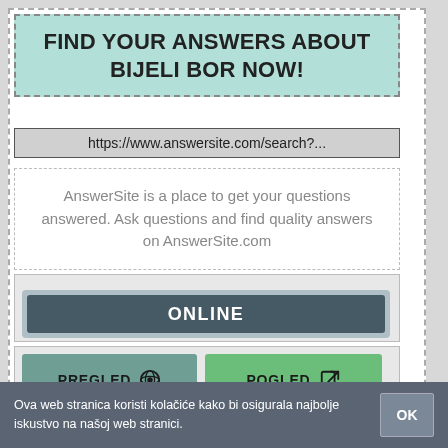FIND YOUR ANSWERS ABOUT BIJELI BOR NOW!
https://www.answersite.com/search?...
AnswerSite is a place to get your questions answered. Ask questions and find quality answers on AnswerSite.com
ONLINE
PREGLED
POGLED
Ova web stranica koristi kolačiće kako bi osigurala najbolje iskustvo na našoj web stranici.
OK